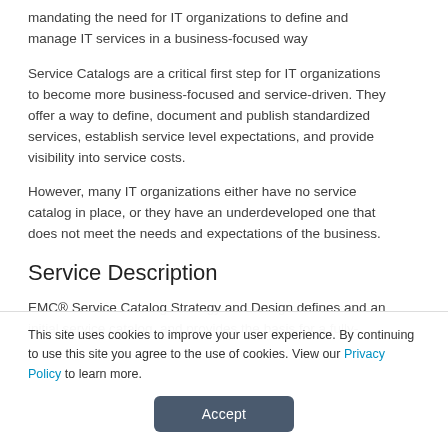mandating the need for IT organizations to define and manage IT services in a business-focused way
Service Catalogs are a critical first step for IT organizations to become more business-focused and service-driven. They offer a way to define, document and publish standardized services, establish service level expectations, and provide visibility into service costs.
However, many IT organizations either have no service catalog in place, or they have an underdeveloped one that does not meet the needs and expectations of the business.
Service Description
EMC® Service Catalog Strategy and Design defines and an initial service catalog, and provides the basis for a fully-
This site uses cookies to improve your user experience. By continuing to use this site you agree to the use of cookies. View our Privacy Policy to learn more.
Accept